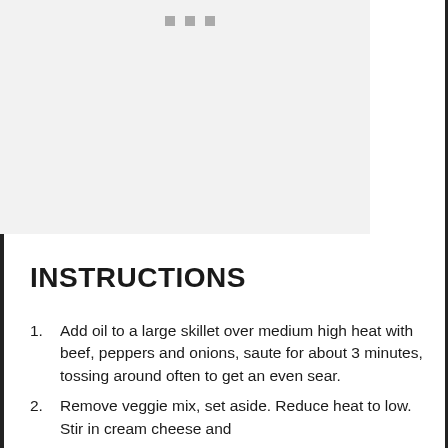[Figure (photo): Photo placeholder area with light gray background and three small gray square dots at top center]
INSTRUCTIONS
Add oil to a large skillet over medium high heat with beef, peppers and onions, saute for about 3 minutes, tossing around often to get an even sear.
Remove veggie mix, set aside. Reduce heat to low. Stir in cream cheese and